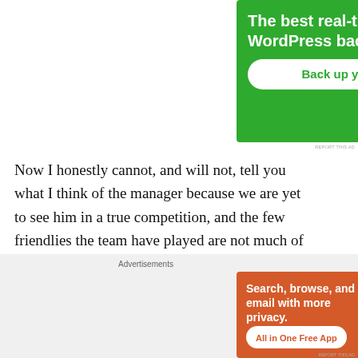[Figure (illustration): Green advertisement banner for WordPress backup plugin with text 'The best real-time WordPress backup plugin' and a white button 'Back up your site']
REPORT THIS AD
Now I honestly cannot, and will not, tell you what I think of the manager because we are yet to see him in a true competition, and the few friendlies the team have played are not much of indication. But based in previous experiences, I find myself very skeptical that they will
Advertisements
[Figure (illustration): Orange/brown DuckDuckGo advertisement banner with text 'Search, browse, and email with more privacy. All in One Free App' with phone graphic and DuckDuckGo logo]